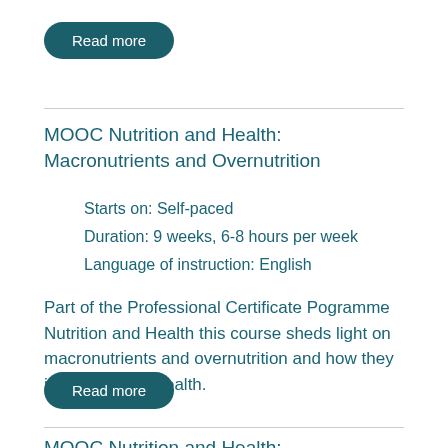Read more
MOOC Nutrition and Health: Macronutrients and Overnutrition
Starts on: Self-paced
Duration: 9 weeks, 6-8 hours per week
Language of instruction: English
Part of the Professional Certificate Pogramme Nutrition and Health this course sheds light on macronutrients and overnutrition and how they impact human health.
Read more
MOOC Nutrition and Health: Micronutrients and Malnutrition